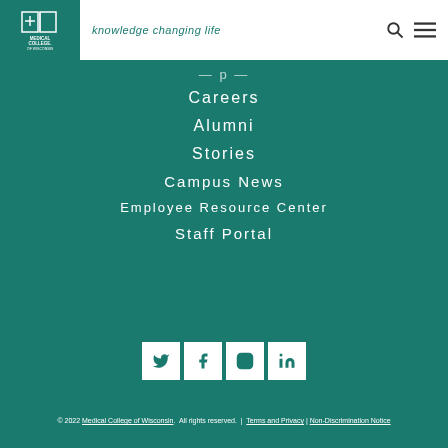Medical College of Wisconsin — knowledge changing life
Careers
Alumni
Stories
Campus News
Employee Resource Center
Staff Portal
[Figure (infographic): Social media icons: Twitter, Facebook, Instagram, LinkedIn in white square boxes on teal background]
© 2022 Medical College of Wisconsin. All rights reserved. | Terms and Privacy | Non-Discrimination Notice